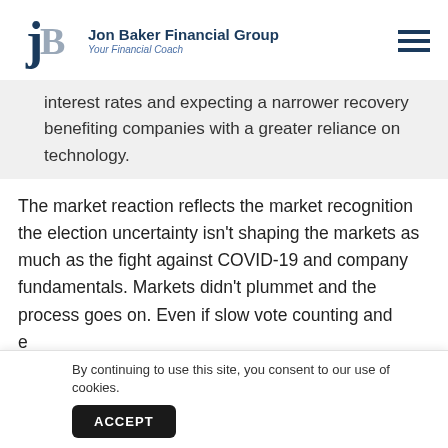Jon Baker Financial Group — Your Financial Coach
interest rates and expecting a narrower recovery benefiting companies with a greater reliance on technology.
The market reaction reflects the market recognition the election uncertainty isn't shaping the markets as much as the fight against COVID-19 and company fundamentals. Markets didn't plummet and the process goes on. Even if slow vote counting and e... ru...
By continuing to use this site, you consent to our use of cookies.